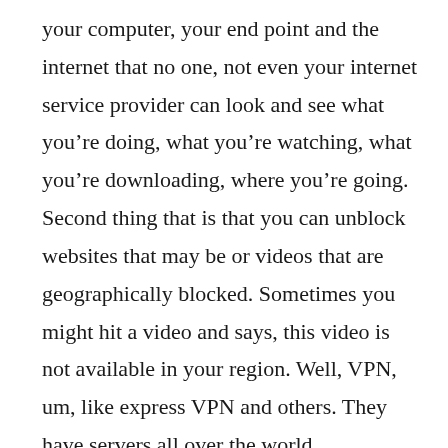your computer, your end point and the internet that no one, not even your internet service provider can look and see what you're doing, what you're watching, what you're downloading, where you're going. Second thing that is that you can unblock websites that may be or videos that are geographically blocked. Sometimes you might hit a video and says, this video is not available in your region. Well, VPN, um, like express VPN and others. They have servers all over the world.